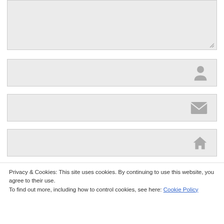[Figure (screenshot): Comment textarea (grey background, resize handle at bottom right)]
[Figure (screenshot): Name input field with user/person icon on right]
[Figure (screenshot): Email input field with envelope/mail icon on right]
[Figure (screenshot): Website URL input field with house/home icon on right]
Privacy & Cookies: This site uses cookies. By continuing to use this website, you agree to their use.
To find out more, including how to control cookies, see here: Cookie Policy
Close and accept
Notify me of new posts via email.